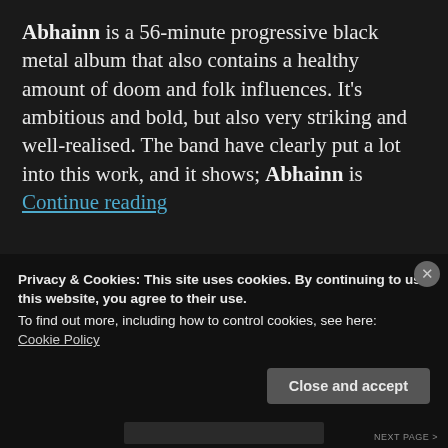Abhainn is a 56-minute progressive black metal album that also contains a healthy amount of doom and folk influences. It's ambitious and bold, but also very striking and well-realised. The band have clearly put a lot into this work, and it shows; Abhainn is Continue reading
wonderboxmetal / April 11, 2021 / Black metal / Agalloch, At The Gates, Bathory, Black metal, Borknagar, Corr Mhóna, Dead Can Dance, Doom, Doom Metal, Enslaved, Folk Metal, Metal, Pallbearer, Primordial
Privacy & Cookies: This site uses cookies. By continuing to use this website, you agree to their use.
To find out more, including how to control cookies, see here: Cookie Policy
Close and accept